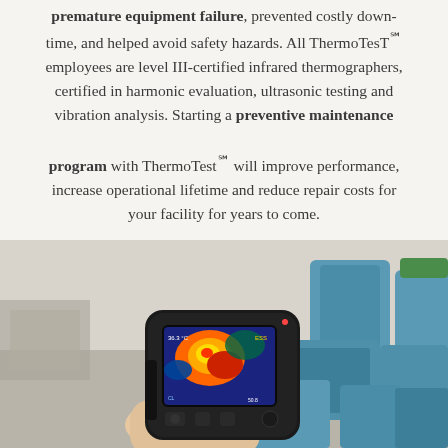We have saved our clients millions of dollars in premature equipment failure, prevented costly down-time, and helped avoid safety hazards. All ThermoTest℠ employees are level III-certified infrared thermographers, certified in harmonic evaluation, ultrasonic testing and vibration analysis. Starting a preventive maintenance program with ThermoTest℠ will improve performance, increase operational lifetime and reduce repair costs for your facility for years to come.
[Figure (photo): A hand holding a thermal imaging camera (FLIR-style infrared camera) with a colorful heat map displayed on its screen, pointed at blue industrial pump/motor equipment in a warehouse setting.]